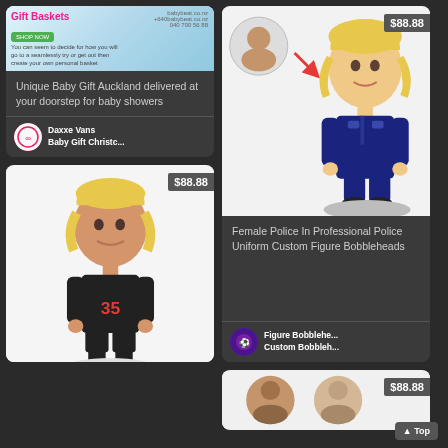[Figure (screenshot): Gift Baskets product card with banner image and shop now button]
Unique Baby Gift Auckland delivered at your doorstep for baby showers
Daxxe Vans
Baby Gift Christc...
[Figure (photo): Female Police In Professional Police Uniform Custom Figure Bobblehead product with $88.88 price tag]
Female Police In Professional Police Uniform Custom Figure Bobbleheads
Figure Bobblehe...
Custom Bobbleh...
[Figure (photo): Football player bobblehead wearing #35 black jersey with $88.88 price tag]
[Figure (photo): Partial product card showing two men's faces with $88.88 price tag, partially cut off at bottom]